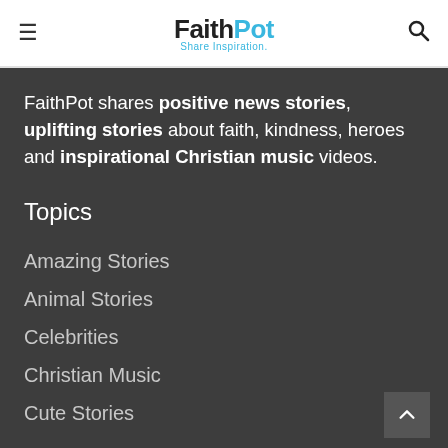FaithPot – Share Inspiration
FaithPot shares positive news stories, uplifting stories about faith, kindness, heroes and inspirational Christian music videos.
Topics
Amazing Stories
Animal Stories
Celebrities
Christian Music
Cute Stories